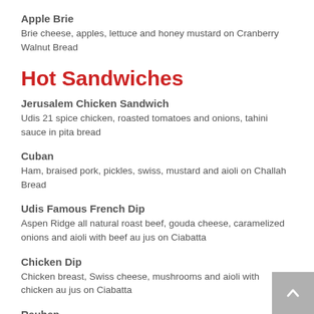Apple Brie
Brie cheese, apples, lettuce and honey mustard on Cranberry Walnut Bread
Hot Sandwiches
Jerusalem Chicken Sandwich
Udis 21 spice chicken, roasted tomatoes and onions, tahini sauce in pita bread
Cuban
Ham, braised pork, pickles, swiss, mustard and aioli on Challah Bread
Udis Famous French Dip
Aspen Ridge all natural roast beef, gouda cheese, caramelized onions and aioli with beef au jus on Ciabatta
Chicken Dip
Chicken breast, Swiss cheese, mushrooms and aioli with chicken au jus on Ciabatta
Reuben